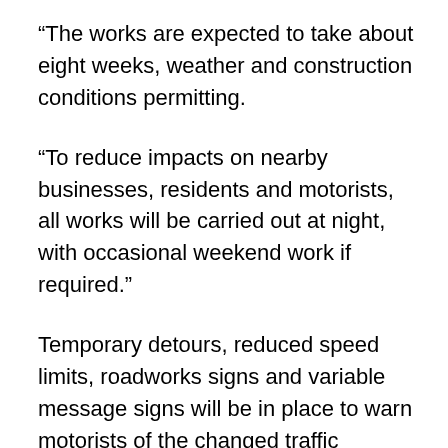“The works are expected to take about eight weeks, weather and construction conditions permitting.
“To reduce impacts on nearby businesses, residents and motorists, all works will be carried out at night, with occasional weekend work if required.”
Temporary detours, reduced speed limits, roadworks signs and variable message signs will be in place to warn motorists of the changed traffic conditions and ensure motorist and roadworker safety.
Mr Skelton said the 3km was just one section of multiple upgrades to the Sunshine Motorway.
Further resurfacing works include east of the Dixon